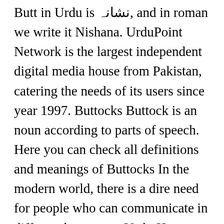Butt in Urdu is نشانہ, and in roman we write it Nishana. UrduPoint Network is the largest independent digital media house from Pakistan, catering the needs of its users since year 1997. Buttocks Buttock is an noun according to parts of speech. Here you can check all definitions and meanings of Buttocks In the modern world, there is a dire need for people who can communicate in different languages. Verb. However, it will allow you to learn the appropriate use of Buttocks in a sentence. Man shot in buttocks and tasered by police following alleged carjacking in Brisbane's south-west - ABC News, - Buttock Meaning in English to Urdu is چوتڑ, as written in Urdu and Chutar, as written in Roman Urdu. n. The